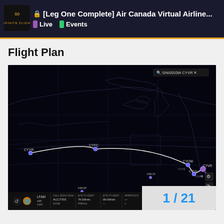[Leg One Complete] Air Canada Virtual Airline... | Live | Events
Flight Plan
[Figure (map): Flight plan map showing a route on a dark background with geographic outlines. A curved white line connects waypoints from the left side (CYYR area) through CYFC and arcs across to the right side where CYOW, CYUL, and other waypoints cluster near the bottom right. Search bar top-right shows 'SIN/0203W CYVR'. Map controls visible on right side. Bottom bar shows flight info including coordinates and parameters.]
1 / 21